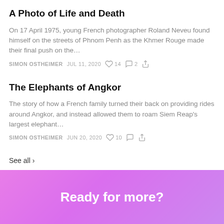A Photo of Life and Death
On 17 April 1975, young French photographer Roland Neveu found himself on the streets of Phnom Penh as the Khmer Rouge made their final push on the…
SIMON OSTHEIMER   JUL 11, 2020   ♡ 14   💬 2   ↗
The Elephants of Angkor
The story of how a French family turned their back on providing rides around Angkor, and instead allowed them to roam Siem Reap's largest elephant…
SIMON OSTHEIMER   JUN 20, 2020   ♡ 10   💬   ↗
See all ›
Ready for more?